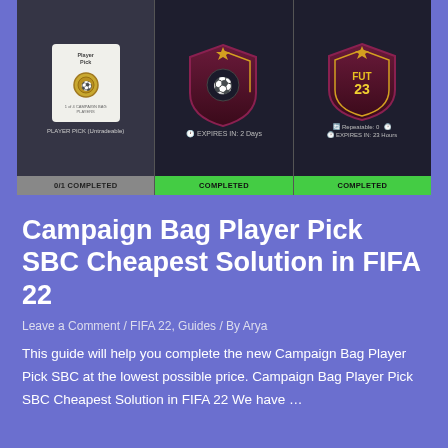[Figure (screenshot): FIFA 22 SBC screen showing three challenge cards: a white Player Pick (Untradeable) card showing 0/1 COMPLETED, a dark shield card showing EXPIRES IN: 2 Days and COMPLETED, and a dark FUT 23 shield card showing Repeatable: 0, EXPIRES IN: 23 Hours, and COMPLETED.]
Campaign Bag Player Pick SBC Cheapest Solution in FIFA 22
Leave a Comment / FIFA 22, Guides / By Arya
This guide will help you complete the new Campaign Bag Player Pick SBC at the lowest possible price. Campaign Bag Player Pick SBC Cheapest Solution in FIFA 22 We have …